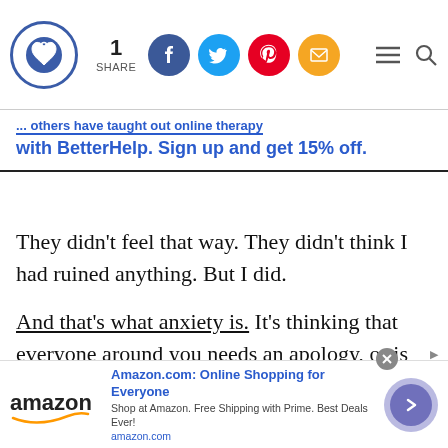1 SHARE [social icons: Facebook, Twitter, Pinterest, Email] [menu icon] [search icon]
...million others have taught out online therapy with BetterHelp. Sign up and get 15% off.
They didn't feel that way. They didn't think I had ruined anything. But I did.
And that's what anxiety is. It's thinking that everyone around you needs an apology, or is blaming you for something. It's thinking that your family won't love you because you have
[Figure (infographic): Amazon advertisement banner: Amazon logo with text 'Amazon.com: Online Shopping for Everyone', 'Shop at Amazon. Free Shipping with Prime. Best Deals Ever!', 'amazon.com', with a purple navigation arrow button and close X button.]